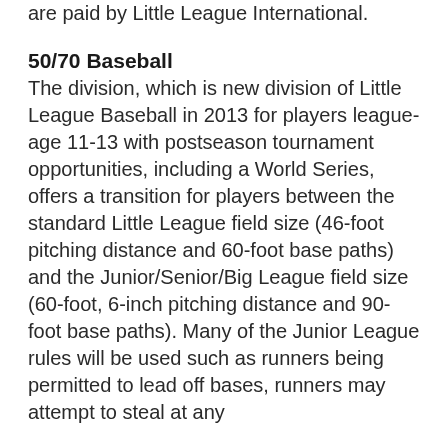are paid by Little League International.
50/70 Baseball
The division, which is new division of Little League Baseball in 2013 for players league-age 11-13 with postseason tournament opportunities, including a World Series, offers a transition for players between the standard Little League field size (46-foot pitching distance and 60-foot base paths) and the Junior/Senior/Big League field size (60-foot, 6-inch pitching distance and 90-foot base paths). Many of the Junior League rules will be used such as runners being permitted to lead off bases, runners may attempt to steal at any